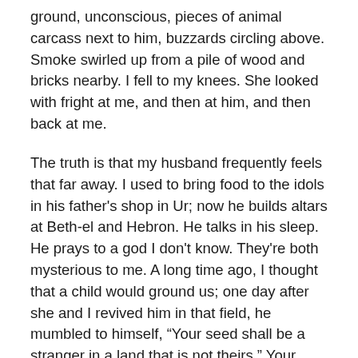ground, unconscious, pieces of animal carcass next to him, buzzards circling above. Smoke swirled up from a pile of wood and bricks nearby. I fell to my knees. She looked with fright at me, and then at him, and then back at me.
The truth is that my husband frequently feels that far away. I used to bring food to the idols in his father's shop in Ur; now he builds altars at Beth-el and Hebron. He talks in his sleep. He prays to a god I don't know. They're both mysterious to me. A long time ago, I thought that a child would ground us; one day after she and I revived him in that field, he mumbled to himself, “Your seed shall be a stranger in a land that is not theirs.” Your seed, I repeated softly. That possibility had stopped for me.
It was her idea. She said she didn't know why I hadn't